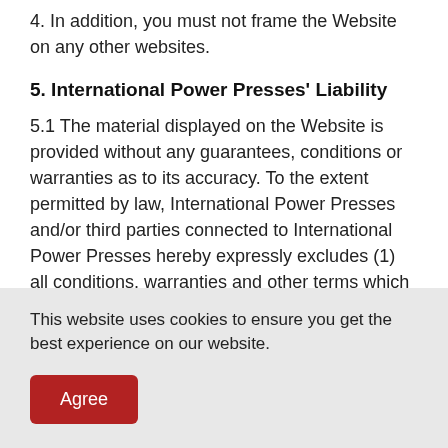4. In addition, you must not frame the Website on any other websites.
5. International Power Presses' Liability
5.1 The material displayed on the Website is provided without any guarantees, conditions or warranties as to its accuracy. To the extent permitted by law, International Power Presses and/or third parties connected to International Power Presses hereby expressly excludes (1) all conditions, warranties and other terms which might otherwise be implied by statute, common law or the law of equity; and/or (2)
This website uses cookies to ensure you get the best experience on our website.